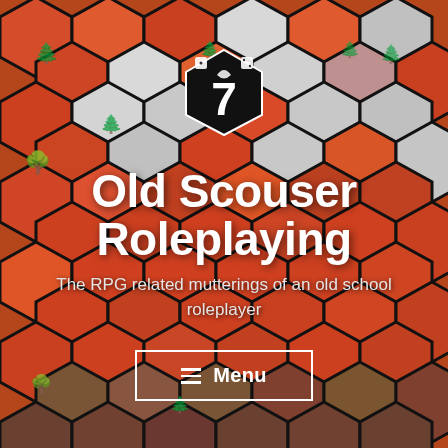[Figure (illustration): Hexagonal tile pattern background with hand-drawn illustration of various landscapes including orange/red terrain with trees, mountains, and grasslands. The hexagons are arranged in a honeycomb grid pattern covering the entire page.]
[Figure (logo): Hexagonal black logo badge containing a white number 7 with a bird/goose silhouette and two dice icons at top]
Old Scouser Roleplaying
The RPG related mutterings of an old school roleplayer
Menu